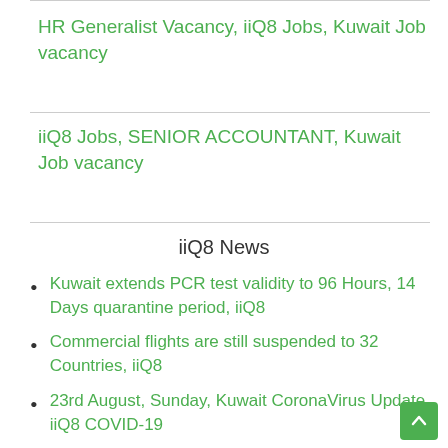HR Generalist Vacancy, iiQ8 Jobs, Kuwait Job vacancy
iiQ8 Jobs, SENIOR ACCOUNTANT, Kuwait Job vacancy
iiQ8 News
Kuwait extends PCR test validity to 96 Hours, 14 Days quarantine period, iiQ8
Commercial flights are still suspended to 32 Countries, iiQ8
23rd August, Sunday, Kuwait CoronaVirus Update, iiQ8 COVID-19